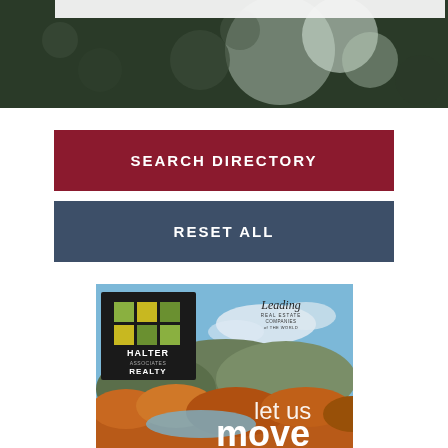[Figure (photo): Blurred dark green and white bokeh background photo at top of page]
SEARCH DIRECTORY
RESET ALL
[Figure (illustration): Halter Associates Realty advertisement banner showing autumn foliage over a lake with text 'let us move you', Halter Associates Realty logo on left and Leading Real Estate Companies of the World logo on right]